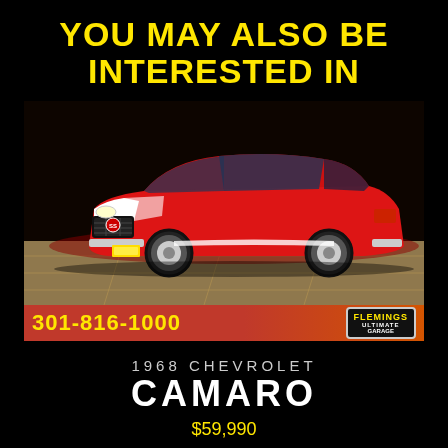YOU MAY ALSO BE INTERESTED IN
[Figure (photo): Red 1968 Chevrolet Camaro classic muscle car photographed in a showroom with dark background. Phone number 301-816-1000 shown on red banner at bottom. Flemings Ultimate Garage logo at bottom right.]
1968 CHEVROLET
CAMARO
$59,990